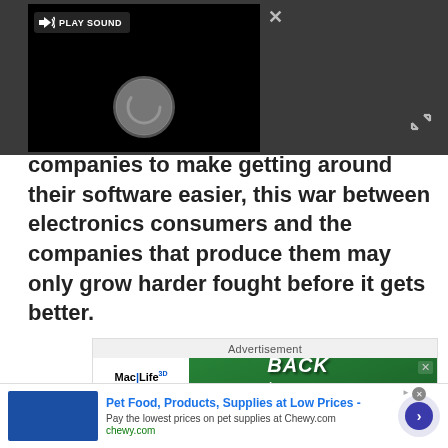[Figure (screenshot): Video player overlay with dark gray background, showing a black video area with a 'PLAY SOUND' button top-left, a circular loading spinner in the center-bottom area of the video, a close X button top-right, and an expand icon bottom-right.]
companies to make getting around their software easier, this war between electronics consumers and the companies that produce them may only grow harder fought before it gets better.
[Figure (screenshot): Advertisement banner: top label reads 'Advertisement', below is a Mac|Life magazine ad for Back to School Subscription Sale with green chalkboard background and school supplies. Below that is a Chewy.com pet supplies ad with blue arrow button.]
Pet Food, Products, Supplies at Low Prices - Pay the lowest prices on pet supplies at Chewy.com chewy.com